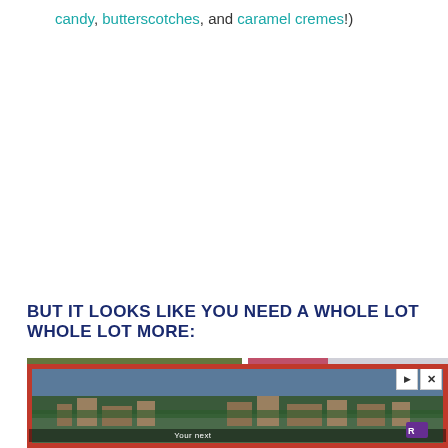candy, butterscotches, and caramel cremes!)
BUT IT LOOKS LIKE YOU NEED A WHOLE LOT WHOLE LOT MORE:
[Figure (photo): Two thumbnail images side by side from teachmama.com]
[Figure (photo): Advertisement banner showing aerial landscape view with text 'Your next...'. Has play and close controls in top right corner.]